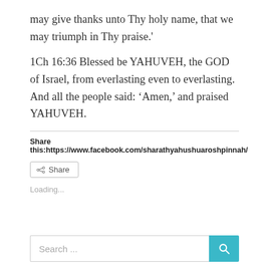may give thanks unto Thy holy name, that we may triumph in Thy praise.'
1Ch 16:36 Blessed be YAHUVEH, the GOD of Israel, from everlasting even to everlasting. And all the people said: ‘Amen,’ and praised YAHUVEH.
Share this:https://www.facebook.com/sharathyahushuaroshpinnah/
[Figure (other): Share button with share icon]
Loading...
[Figure (other): Search bar with teal search button]